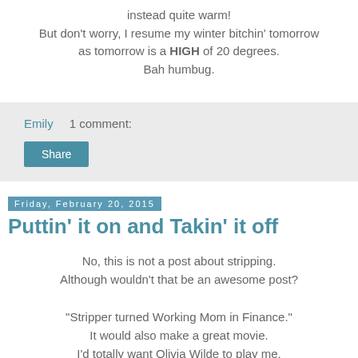instead quite warm!
But don't worry, I resume my winter bitchin' tomorrow
as tomorrow is a HIGH of 20 degrees.
Bah humbug.
Emily   1 comment:
Share
Friday, February 20, 2015
Puttin' it on and Takin' it off
No, this is not a post about stripping.
Although wouldn't that be an awesome post?

"Stripper turned Working Mom in Finance."
It would also make a great movie.
I'd totally want Olivia Wilde to play me,
even if she isn't relevant anymore.